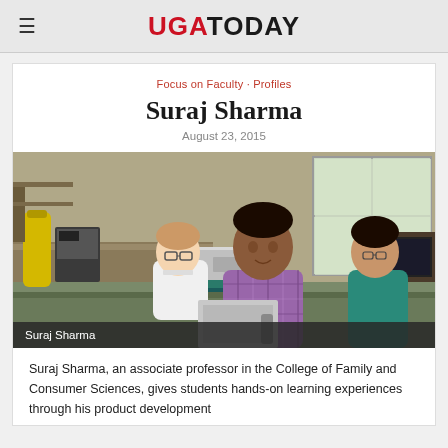UGA TODAY
Focus on Faculty · Profiles
Suraj Sharma
August 23, 2015
[Figure (photo): Suraj Sharma, an associate professor, photographed in a laboratory setting with two students. He stands in the center in a plaid shirt, a student in a white lab coat works behind him, and a female student in a teal top looks on to the right. Lab equipment and benches are visible in the background.]
Suraj Sharma
Suraj Sharma, an associate professor in the College of Family and Consumer Sciences, gives students hands-on learning experiences through his product development